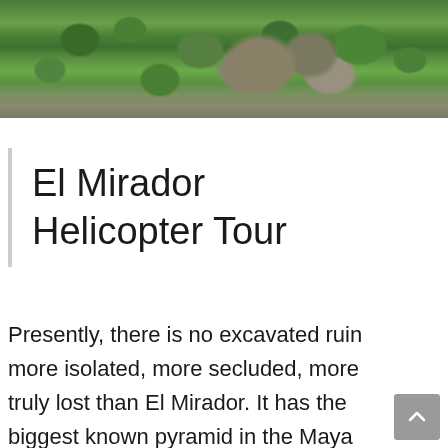[Figure (photo): Aerial view of dense jungle/forest canopy with what appears to be an ancient Maya ruin or mound visible through the trees]
El Mirador Helicopter Tour
Presently, there is no excavated ruin more isolated, more secluded, more truly lost than El Mirador. It has the biggest known pyramid in the Maya world. The reward for those